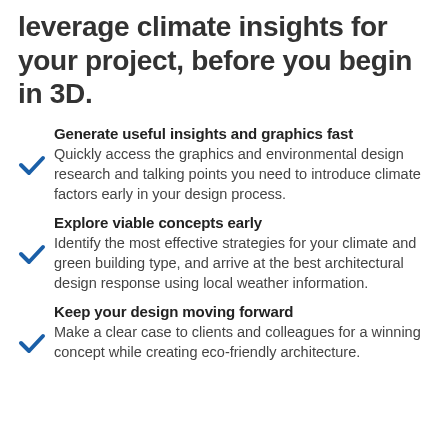leverage climate insights for your project, before you begin in 3D.
Generate useful insights and graphics fast
Quickly access the graphics and environmental design research and talking points you need to introduce climate factors early in your design process.
Explore viable concepts early
Identify the most effective strategies for your climate and green building type, and arrive at the best architectural design response using local weather information.
Keep your design moving forward
Make a clear case to clients and colleagues for a winning concept while creating eco-friendly architecture.